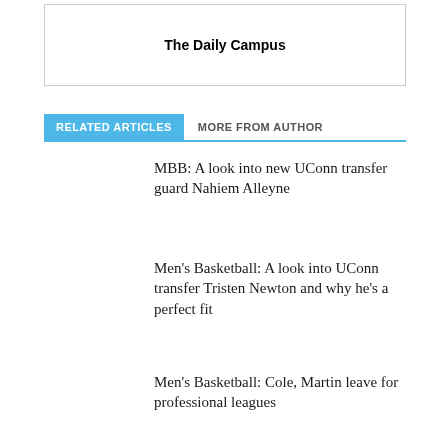The Daily Campus
RELATED ARTICLES
MORE FROM AUTHOR
MBB: A look into new UConn transfer guard Nahiem Alleyne
Men's Basketball: A look into UConn transfer Tristen Newton and why he's a perfect fit
Men's Basketball: Cole, Martin leave for professional leagues